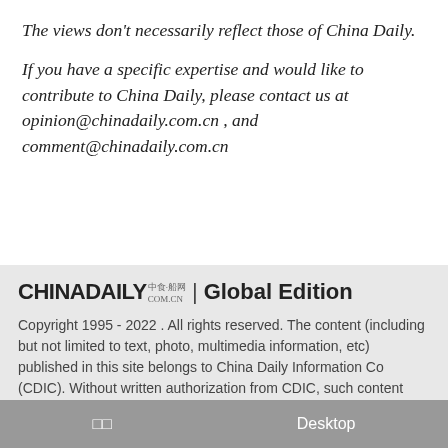The views don't necessarily reflect those of China Daily.
If you have a specific expertise and would like to contribute to China Daily, please contact us at opinion@chinadaily.com.cn , and comment@chinadaily.com.cn
CHINADAILY 中食·船网 COM.CN | Global Edition
Copyright 1995 - 2022 . All rights reserved. The content (including but not limited to text, photo, multimedia information, etc) published in this site belongs to China Daily Information Co (CDIC). Without written authorization from CDIC, such content shall not be republished or used in any form. Note: Browsers with 1024*768 or higher resolution are suggested for this site.
□□   Desktop